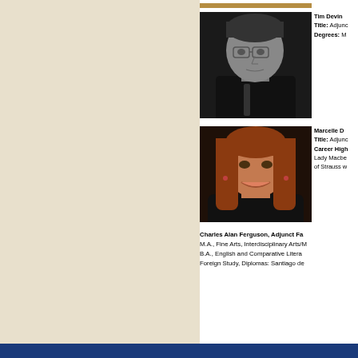[Figure (photo): Partial cropped photo at top of page showing what appears to be a person with a yellow/gold item]
[Figure (photo): Black and white portrait photo of Tim Devine, a man with glasses and dark hair]
Tim Devine
Title: Adjunct
Degrees: M
[Figure (photo): Color portrait photo of Marcelle D, a woman with reddish-brown hair smiling]
Marcelle D
Title: Adjunct
Career High: Lady Macbe... of Strauss w...
Charles Alan Ferguson, Adjunct Fa
M.A., Fine Arts, Interdisciplinary Arts/M
B.A., English and Comparative Litera
Foreign Study, Diplomas: Santiago de